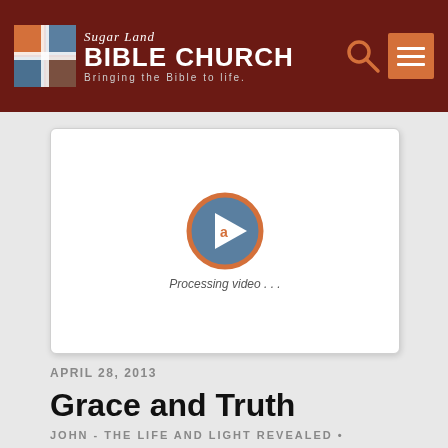Sugar Land Bible Church – Bringing the Bible to life.
[Figure (screenshot): Video player placeholder showing a processing video icon with circular orange border and play button, with text 'Processing video...' below]
APRIL 28, 2013
Grace and Truth
JOHN - THE LIFE AND LIGHT REVEALED • JOHN 8:1-11 • DR. ANDY WOODS •